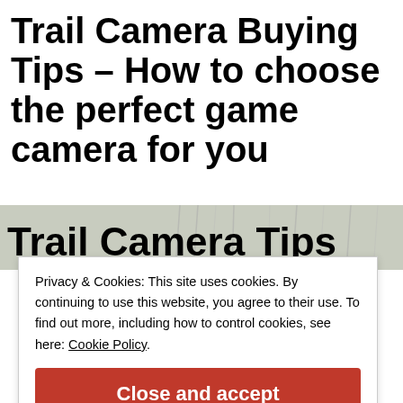Trail Camera Buying Tips – How to choose the perfect game camera for you
[Figure (photo): Trail Camera Tips banner image with text overlay on a winter outdoor background]
Privacy & Cookies: This site uses cookies. By continuing to use this website, you agree to their use. To find out more, including how to control cookies, see here: Cookie Policy
Close and accept